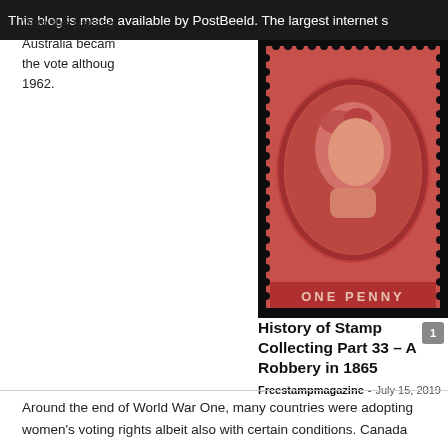This blog is made available by PostBeeld. The largest internet s
With the passage Australia became the vote although 1962.
[Figure (photo): Close-up photograph of a red ONE PENNY Australian stamp featuring a portrait of Queen Victoria in profile, with perforated edges and dark background.]
History of Stamp Collecting Part 33 – A Robbery in 1865
Freestampmagazine - July 15, 2019
Around the end of World War One, many countries were adopting women's voting rights albeit also with certain conditions. Canada